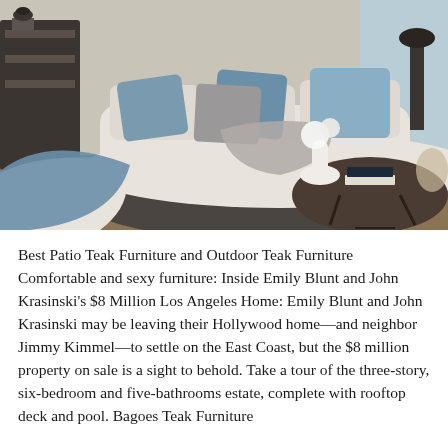[Figure (photo): Interior living room photo showing a white curved sofa with blue and grey throw pillows, a grey throw blanket, a round dark wood coffee table with books and decorative items, flowers in vase, dark decorative lamp, on a patterned area rug. A large blue pillow is in the foreground left.]
Best Patio Teak Furniture and Outdoor Teak Furniture Comfortable and sexy furniture: Inside Emily Blunt and John Krasinski's $8 Million Los Angeles Home: Emily Blunt and John Krasinski may be leaving their Hollywood home—and neighbor Jimmy Kimmel—to settle on the East Coast, but the $8 million property on sale is a sight to behold. Take a tour of the three-story, six-bedroom and five-bathrooms estate, complete with rooftop deck and pool. Bagoes Teak Furniture